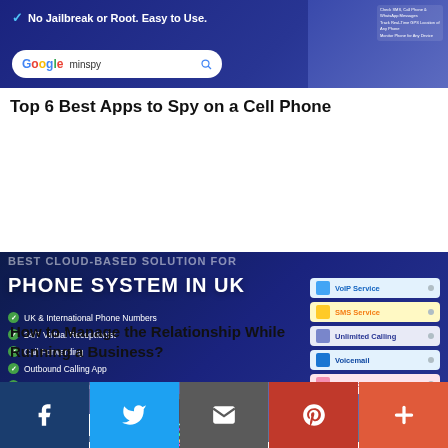[Figure (screenshot): Top banner for a spy app: dark blue background with 'No Jailbreak or Root. Easy to Use.' text and a Google search bar showing 'minspy']
Top 6 Best Apps to Spy on a Cell Phone
[Figure (screenshot): Banner for Phone System in UK service showing VoIP Service, SMS Service, Unlimited Calling, Voicemail, Recording options on the right, and features: UK & International Phone Numbers, 24/7 Virtual Receptionist, Call Forwarding, Outbound Calling App, Inbound Call Handling on the left]
How to Manage the Relationship While Running a Business?
[Figure (photo): Colorful smartphone with rainbow wave wallpaper, tilted at an angle]
Facebook  Twitter  Email  Pinterest  More